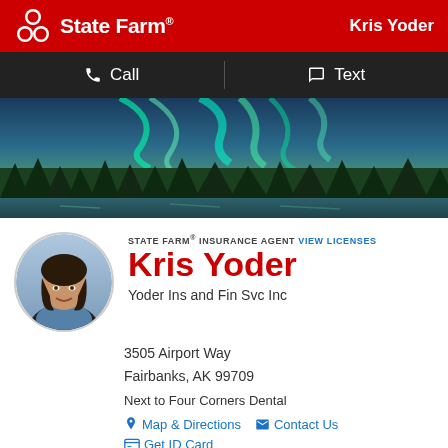State Farm® — Kris Yoder
Call   Text
[Figure (photo): Panoramic photo of northern lights (aurora borealis) over a forested lake at dusk, with green aurora curtains in the sky and reflections on calm water.]
[Figure (photo): Circular headshot of Kris Yoder, a woman with dark hair, smiling, wearing a blue top.]
STATE FARM® INSURANCE AGENT VIEW LICENSES
Kris Yoder
Yoder Ins and Fin Svc Inc
3505 Airport Way
Fairbanks, AK 99709
Next to Four Corners Dental
Map & Directions   Contact Us
Get ID Card